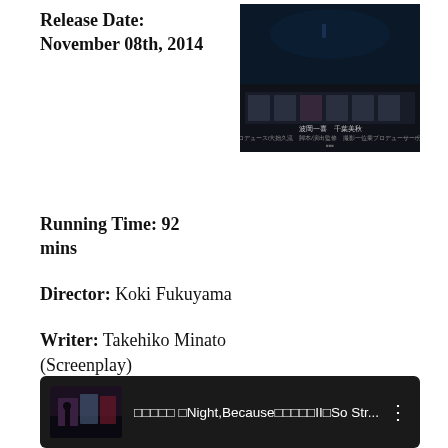Release Date: November 08th, 2014
[Figure (photo): Movie poster with dark background showing Japanese text and cast members]
Running Time: 92 mins
Director: Koki Fukuyama
Writer: Takehiko Minato (Screenplay)
Starring: Kazuki Namioka, Chiba Milla, Kazuha Komiya, Velma,
[Figure (screenshot): YouTube video bar with dark background showing a video thumbnail on the left and title text: □□□□□ □Night,Because□□□□□II□So Str... with three-dot menu icon]